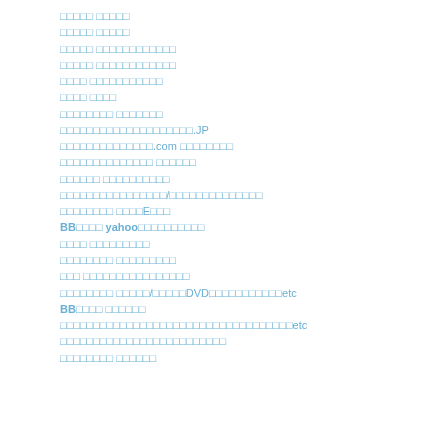□□□□□ □□□□□
□□□□□ □□□□□
□□□□□ □□□□□□□□□□□□
□□□□□ □□□□□□□□□□□□
□□□□ □□□□□□□□□□□
□□□□ □□□□
□□□□□□□□ □□□□□□□
□□□□□□□□□□□□□□□□□□□□.JP
□□□□□□□□□□□□□□.com □□□□□□□□
□□□□□□□□□□□□□□ □□□□□□
□□□□□□ □□□□□□□□□□
□□□□□□□□□□□□□□□□/□□□□□□□□□□□□□□
□□□□□□□□ □□□□E□□□
BB□□□□ yahoo□□□□□□□□□□
□□□□ □□□□□□□□□
□□□□□□□□ □□□□□□□□□
□□□ □□□□□□□□□□□□□□□□
□□□□□□□□ □□□□□/□□□□□DVD□□□□□□□□□□□etc
BB□□□□ □□□□□□
□□□□□□□□□□□□□□□□□□□□□□□□□□□□□□□□□□□etc
□□□□□□□□□□□□□□□□□□□□□□□□□
□□□□□□□□ □□□□□□